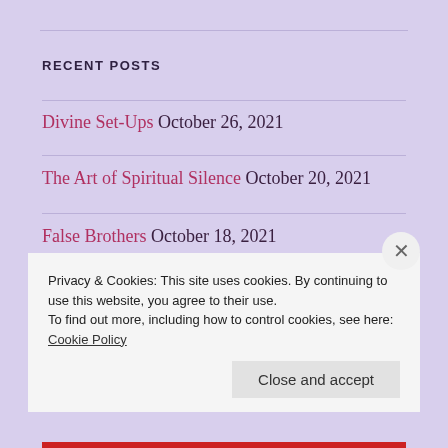RECENT POSTS
Divine Set-Ups October 26, 2021
The Art of Spiritual Silence October 20, 2021
False Brothers October 18, 2021
The Word of God October 16, 2021
Privacy & Cookies: This site uses cookies. By continuing to use this website, you agree to their use.
To find out more, including how to control cookies, see here: Cookie Policy